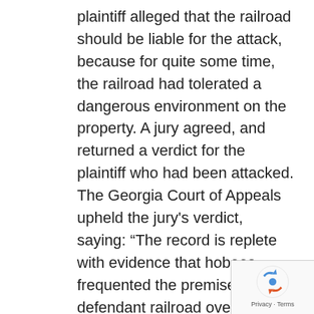plaintiff alleged that the railroad should be liable for the attack, because for quite some time, the railroad had tolerated a dangerous environment on the property. A jury agreed, and returned a verdict for the plaintiff who had been attacked. The Georgia Court of Appeals upheld the jury's verdict, saying: “The record is replete with evidence that hoboes frequented the premises of the defendant railroad over a period of years, both day and night. Hoboes as such are law violators (Code § 18-9912). This evidence, coupled with other evidence in the record, is sufficient to support the verdict.” Id.
[Figure (logo): reCAPTCHA logo with Privacy and Terms links]